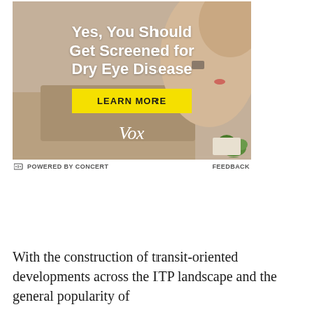[Figure (photo): Advertisement banner showing a person rubbing their eyes, with text 'Yes, You Should Get Screened for Dry Eye Disease', a yellow 'LEARN MORE' button, and the Vox logo. Footer shows 'POWERED BY CONCERT' and 'FEEDBACK'.]
With the construction of transit-oriented developments across the ITP landscape and the general popularity of